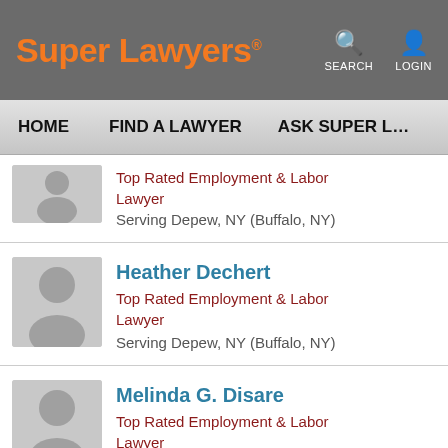Super Lawyers® | SEARCH | LOGIN
HOME | FIND A LAWYER | ASK SUPER L…
Top Rated Employment & Labor Lawyer
Serving Depew, NY (Buffalo, NY)
Heather Dechert
Top Rated Employment & Labor Lawyer
Serving Depew, NY (Buffalo, NY)
Melinda G. Disare
Top Rated Employment & Labor Lawyer
Serving Depew, NY (Buffalo, NY)